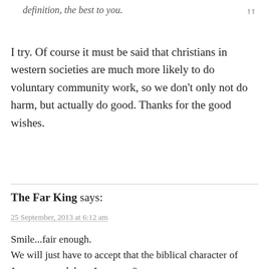definition, the best to you.
I try. Of course it must be said that christians in western societies are much more likely to do voluntary community work, so we don't only not do harm, but actually do good. Thanks for the good wishes.
The Far King says:
25 September, 2013 at 6:12 am
Smile...fair enough.
We will just have to accept that the biblical character of Jesus was god then, I suppose?